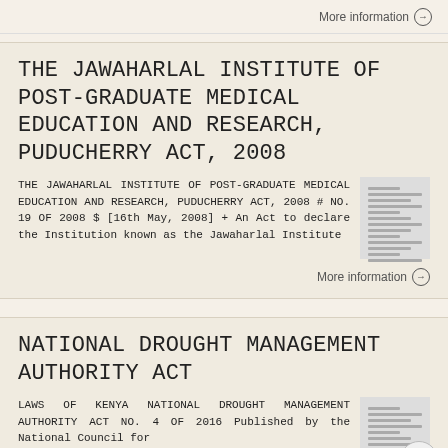More information →
THE JAWAHARLAL INSTITUTE OF POST-GRADUATE MEDICAL EDUCATION AND RESEARCH, PUDUCHERRY ACT, 2008
THE JAWAHARLAL INSTITUTE OF POST-GRADUATE MEDICAL EDUCATION AND RESEARCH, PUDUCHERRY ACT, 2008 # NO. 19 OF 2008 $ [16th May, 2008] + An Act to declare the Institution known as the Jawaharlal Institute
More information →
NATIONAL DROUGHT MANAGEMENT AUTHORITY ACT
LAWS OF KENYA NATIONAL DROUGHT MANAGEMENT AUTHORITY ACT NO. 4 OF 2016 Published by the National Council for